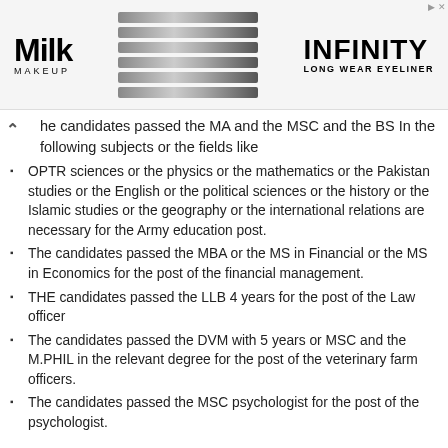[Figure (screenshot): Advertisement banner for Milk Makeup Infinity Long Wear Eyeliner showing product pencils in the center]
he candidates passed the MA and the MSC and the BS In the following subjects or the fields like
OPTR sciences or the physics or the mathematics or the Pakistan studies or the English or the political sciences or the history or the Islamic studies or the geography or the international relations are necessary for the Army education post.
The candidates passed the MBA or the MS in Financial or the MS in Economics for the post of the financial management.
THE candidates passed the LLB 4 years for the post of the Law officer
The candidates passed the DVM with 5 years or MSC and the M.PHIL in the relevant degree for the post of the veterinary farm officers.
The candidates passed the MSC psychologist for the post of the psychologist.